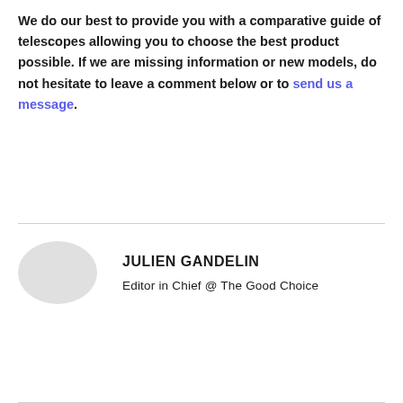We do our best to provide you with a comparative guide of telescopes allowing you to choose the best product possible. If we are missing information or new models, do not hesitate to leave a comment below or to send us a message.
JULIEN GANDELIN
Editor in Chief @ The Good Choice